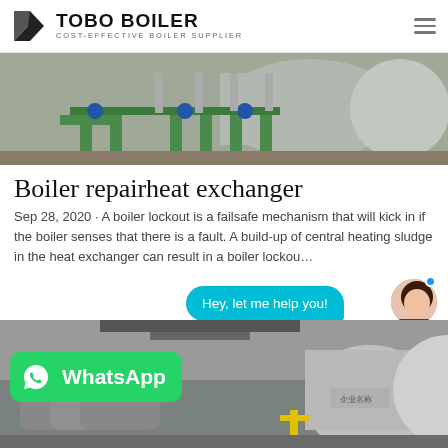TOBO BOILER — COST-EFFECTIVE BOILER SUPPLIER
[Figure (photo): Industrial boiler room with green pipes and valves connected to a large cylindrical boiler tank]
Boiler repairheat exchanger
Sep 28, 2020 · A boiler lockout is a failsafe mechanism that will kick in if the boiler senses that there is a fault. A build-up of central heating sludge in the heat exchanger can result in a boiler lockou…
[Figure (photo): Industrial boiler equipment in a factory setting with large cylindrical boilers]
[Figure (infographic): WhatsApp contact button with green background and WhatsApp logo]
[Figure (photo): Chat bubble saying Hey, let me help you! with avatar of a woman]